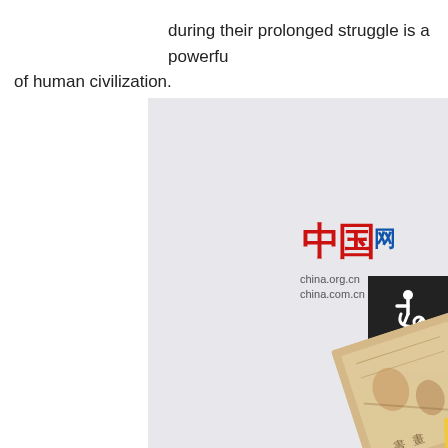during their prolonged struggle is a powerful ... of human civilization.
[Figure (photo): A webpage screenshot showing China.org.cn (中国网) logo with Chinese artifacts: a rotated ancient painted scroll/manuscript, a blue-background photo of a Chinese bronze artifact, an accessibility symbol panel with wheelchair icon and Chinese text, and an oracle bone (jiaguwen) inscription on yellow background.]